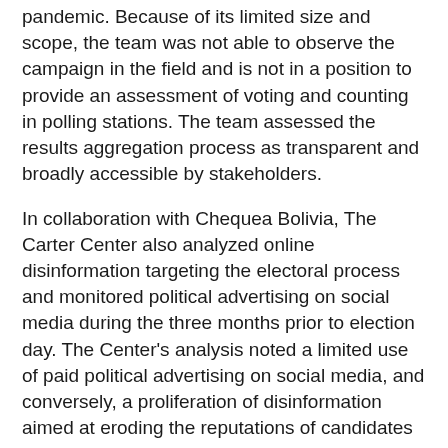pandemic. Because of its limited size and scope, the team was not able to observe the campaign in the field and is not in a position to provide an assessment of voting and counting in polling stations. The team assessed the results aggregation process as transparent and broadly accessible by stakeholders.
In collaboration with Chequea Bolivia, The Carter Center also analyzed online disinformation targeting the electoral process and monitored political advertising on social media during the three months prior to election day. The Center's analysis noted a limited use of paid political advertising on social media, and conversely, a proliferation of disinformation aimed at eroding the reputations of candidates and the TSE.
The Carter Center team will continue working until the conclusion of the electoral process, after which it will provide a longer and more detailed report on key pre- and postelection issues. The final report will include recommendations for future election processes.
Translation